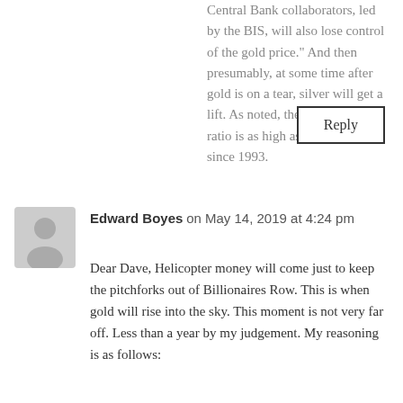Central Bank collaborators, led by the BIS, will also lose control of the gold price." And then presumably, at some time after gold is on a tear, silver will get a lift. As noted, the gold silver ratio is as high as it has been since 1993.
Reply
Edward Boyes on May 14, 2019 at 4:24 pm
Dear Dave, Helicopter money will come just to keep the pitchforks out of Billionaires Row. This is when gold will rise into the sky. This moment is not very far off. Less than a year by my judgement. My reasoning is as follows: